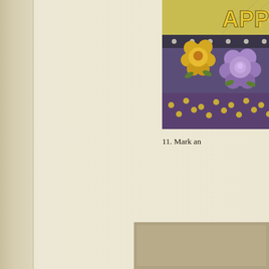[Figure (photo): Decorative Halloween birthday banner with purple and yellow polka dot ribbon, yellow and purple paper roses, and 'HAPPY' text visible at top right]
11. Mark an
1
Wasn't that great, G45ers?! Next w decor doesn't have to be expensive. alter with Graphic 45 paper and em That's how Tara found this sweet ar years to come!
"I decided to alter a plain wooden b then applied using tacky glue. I fur I painted." Tara Orr
[Figure (photo): Thumbnail image of a decorated wooden item, partially visible at bottom right]